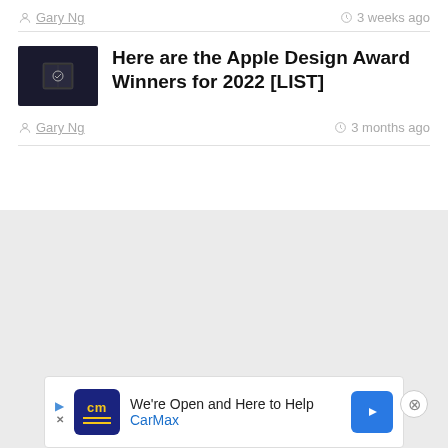Gary Ng · 3 weeks ago
Here are the Apple Design Award Winners for 2022 [LIST]
Gary Ng · 3 months ago
[Figure (screenshot): Advertisement banner: CarMax 'We're Open and Here to Help' with logo and navigation arrow]
We're Open and Here to Help
CarMax